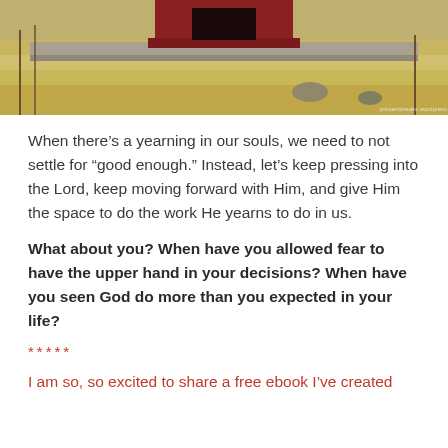[Figure (photo): Photo of a covered bridge area with gravel/dirt ground and red structure visible at top center, bare shrubs and rocks in foreground.]
When there’s a yearning in our souls, we need to not settle for “good enough.” Instead, let’s keep pressing into the Lord, keep moving forward with Him, and give Him the space to do the work He yearns to do in us.
What about you? When have you allowed fear to have the upper hand in your decisions? When have you seen God do more than you expected in your life?
*****
I am so, so excited to share a free ebook I’ve created